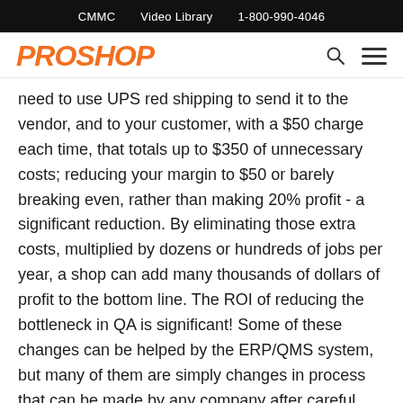CMMC   Video Library   1-800-990-4046
[Figure (logo): ProShop logo in orange italic bold uppercase text]
need to use UPS red shipping to send it to the vendor, and to your customer, with a $50 charge each time, that totals up to $350 of unnecessary costs; reducing your margin to $50 or barely breaking even, rather than making 20% profit - a significant reduction. By eliminating those extra costs, multiplied by dozens or hundreds of jobs per year, a shop can add many thousands of dollars of profit to the bottom line. The ROI of reducing the bottleneck in QA is significant! Some of these changes can be helped by the ERP/QMS system, but many of them are simply changes in process that can be made by any company after careful consideration and planning to mitigate the risks.